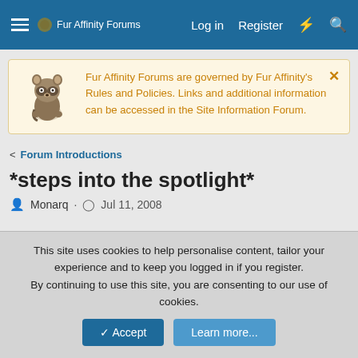Fur Affinity Forums | Log in | Register
Fur Affinity Forums are governed by Fur Affinity's Rules and Policies. Links and additional information can be accessed in the Site Information Forum.
< Forum Introductions
*steps into the spotlight*
Monarq · Jul 11, 2008
This site uses cookies to help personalise content, tailor your experience and to keep you logged in if you register.
By continuing to use this site, you are consenting to our use of cookies.
✓ Accept | Learn more...